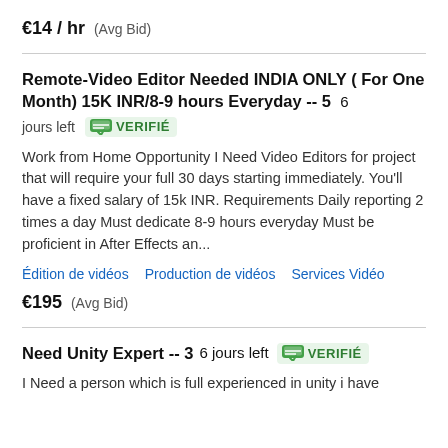€14 / hr  (Avg Bid)
Remote-Video Editor Needed INDIA ONLY ( For One Month) 15K INR/8-9 hours Everyday -- 5  6 jours left  VERIFIÉ
Work from Home Opportunity I Need Video Editors for project that will require your full 30 days starting immediately. You'll have a fixed salary of 15k INR. Requirements Daily reporting 2 times a day Must dedicate 8-9 hours everyday Must be proficient in After Effects an...
Édition de vidéos
Production de vidéos
Services Vidéo
€195  (Avg Bid)
Need Unity Expert -- 3  6 jours left  VERIFIÉ
I Need a person which is full experienced in unity i have